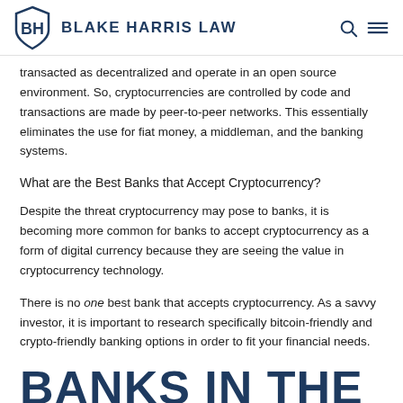BLAKE HARRIS LAW
transacted as decentralized and operate in an open source environment. So, cryptocurrencies are controlled by code and transactions are made by peer-to-peer networks. This essentially eliminates the use for fiat money, a middleman, and the banking systems.
What are the Best Banks that Accept Cryptocurrency?
Despite the threat cryptocurrency may pose to banks, it is becoming more common for banks to accept cryptocurrency as a form of digital currency because they are seeing the value in cryptocurrency technology.
There is no one best bank that accepts cryptocurrency. As a savvy investor, it is important to research specifically bitcoin-friendly and crypto-friendly banking options in order to fit your financial needs.
BANKS IN THE